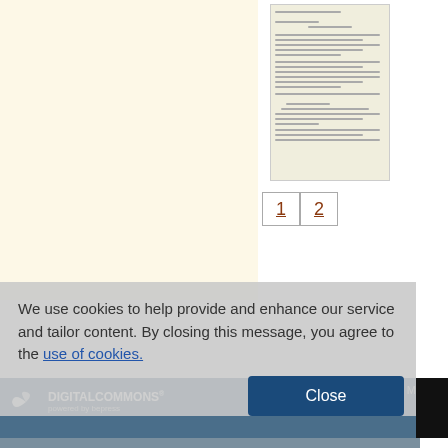[Figure (screenshot): Left cream/beige panel area, part of a digital repository webpage background]
[Figure (screenshot): Thumbnail preview of a scanned document page with text lines]
1  2
We use cookies to help provide and enhance our service and tailor content. By closing this message, you agree to the use of cookies.
[Figure (logo): DigitalCommons powered by bepress logo]
Close
Home | About | FAQ | My
Privacy   Copyright